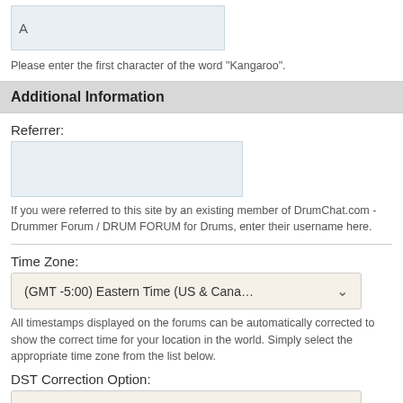A
Please enter the first character of the word "Kangaroo".
Additional Information
Referrer:
If you were referred to this site by an existing member of DrumChat.com - Drummer Forum / DRUM FORUM for Drums, enter their username here.
Time Zone:
(GMT -5:00) Eastern Time (US & Canada)
All timestamps displayed on the forums can be automatically corrected to show the correct time for your location in the world. Simply select the appropriate time zone from the list below.
DST Correction Option:
Automatically detect DST settings
In addition, you may set the appropriate option to allow for daylight savings time in your part of the world.